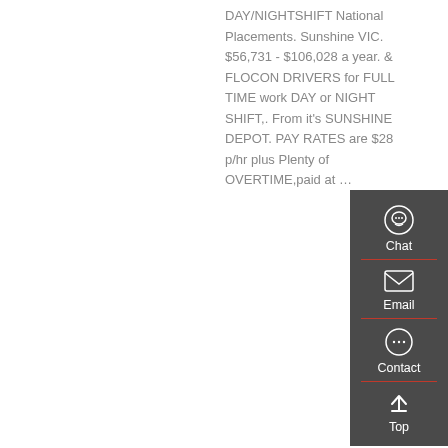DAY/NIGHTSHIFT National Placements. Sunshine VIC. $56,731 - $106,028 a year. & FLOCON DRIVERS for FULL TIME work DAY or NIGHT SHIFT,. From it's SUNSHINE DEPOT. PAY RATES are $28 p/hr plus Plenty of OVERTIME,paid at …
[Figure (other): Sidebar widget with dark grey background showing Chat (headset icon), Email (envelope icon), Contact (speech bubble icon), and Top (arrow up icon) buttons arranged vertically with red dividers.]
Get a Quote
[Figure (photo): Orange tipper/dump truck (tractor unit without trailer) parked on a lot with trees in the background.]
How Tipper Truck Works? - Answers
How does a tipper truck work? T